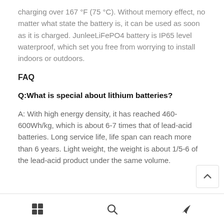charging over 167 °F (75 °C). Without memory effect, no matter what state the battery is, it can be used as soon as it is charged. JunleeLiFePO4 battery is IP65 level waterproof, which set you free from worrying to install indoors or outdoors.
FAQ
Q:What is special about lithium batteries?
A: With high energy density, it has reached 460-600Wh/kg, which is about 6-7 times that of lead-acid batteries. Long service life, life span can reach more than 6 years. Light weight, the weight is about 1/5-6 of the lead-acid product under the same volume.